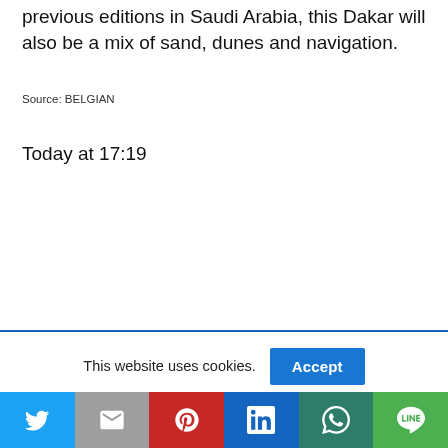previous editions in Saudi Arabia, this Dakar will also be a mix of sand, dunes and navigation.
Source: BELGIAN
Today at 17:19
This website uses cookies.
Twitter | Mail | Pinterest | LinkedIn | WhatsApp | LINE